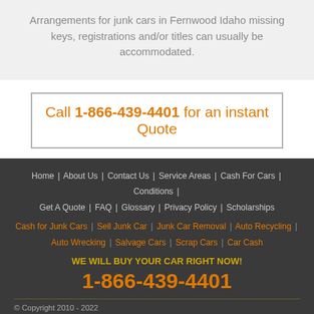Arrangements for junk cars in Fernwood Idaho missing keys, registrations and/or titles can usually be accommodated.
Call 1-866-439-4401 for an instant Quote
Home | About Us | Contact Us | Service Areas | Cash For Cars | Conditions | Get A Quote | FAQ | Glossary | Privacy Policy | Scholarships
Cash for Junk Cars | Sell Junk Car | Junk Car Removal | Auto Recycling | Auto Wrecking | Salvage Cars | Scrap Cars | Car Cash
WE WILL BUY YOUR CAR RIGHT NOW!
1-866-439-4401
© Copyright 2010 - 2022